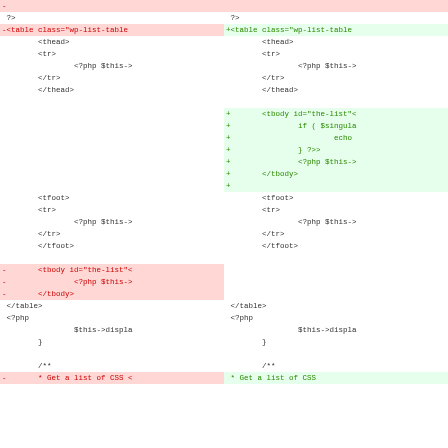[Figure (screenshot): A diff view showing two columns of PHP/HTML code. The left column shows removed lines (red background, red text with '-' prefix) and the right column shows added lines (green background, green text with '+' prefix). The diff shows changes to a WordPress list table template, including the addition of a tbody element with id='the-list' and related PHP code, and the removal of the tbody block from the bottom of the table.]